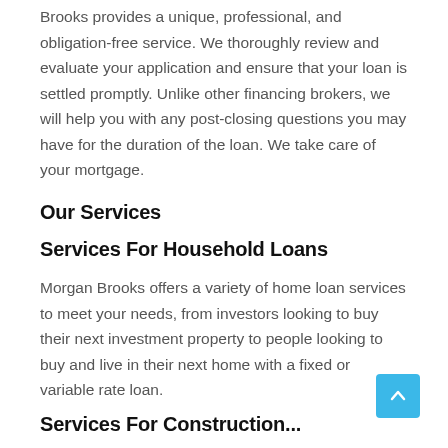Brooks provides a unique, professional, and obligation-free service. We thoroughly review and evaluate your application and ensure that your loan is settled promptly. Unlike other financing brokers, we will help you with any post-closing questions you may have for the duration of the loan. We take care of your mortgage.
Our Services
Services For Household Loans
Morgan Brooks offers a variety of home loan services to meet your needs, from investors looking to buy their next investment property to people looking to buy and live in their next home with a fixed or variable rate loan.
Services For Construction...